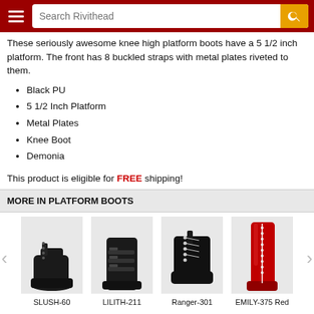Search Rivithead
These seriously awesome knee high platform boots have a 5 1/2 inch platform. The front has 8 buckled straps with metal plates riveted to them.
Black PU
5 1/2 Inch Platform
Metal Plates
Knee Boot
Demonia
This product is eligible for FREE shipping!
MORE IN PLATFORM BOOTS
[Figure (photo): Black platform ankle boot with chain laces and block heel, labeled SLUSH-60]
[Figure (photo): Black mid-calf boot with buckled straps, labeled LILITH-211]
[Figure (photo): Black lace-up chunky platform boot, labeled Ranger-301]
[Figure (photo): Red patent knee-high lace-up boot, labeled EMILY-375 Red]